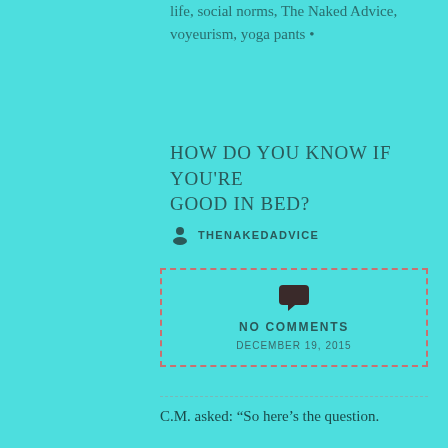life, social norms, The Naked Advice, voyeurism, yoga pants •
HOW DO YOU KNOW IF YOU'RE GOOD IN BED?
THENAKEDADVICE
[Figure (infographic): Dashed red border box with speech bubble icon, text 'NO COMMENTS', and date 'DECEMBER 19, 2015']
C.M. asked: “So here’s the question.